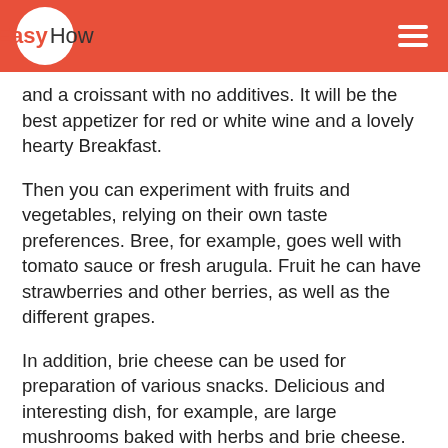EasyHow
and a croissant with no additives. It will be the best appetizer for red or white wine and a lovely hearty Breakfast.
Then you can experiment with fruits and vegetables, relying on their own taste preferences. Bree, for example, goes well with tomato sauce or fresh arugula. Fruit he can have strawberries and other berries, as well as the different grapes.
In addition, brie cheese can be used for preparation of various snacks. Delicious and interesting dish, for example, are large mushrooms baked with herbs and brie cheese. Or salad with grapes, crumbled brie, arugula, walnuts and any French dressing.
Use brie cheese and